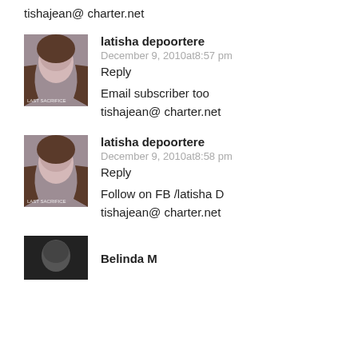tishajean@ charter.net
[Figure (photo): Book cover thumbnail for 'Last Sacrifice' showing a young woman]
latisha depoortere
December 9, 2010at8:57 pm
Reply
Email subscriber too
tishajean@ charter.net
[Figure (photo): Book cover thumbnail for 'Last Sacrifice' showing a young woman]
latisha depoortere
December 9, 2010at8:58 pm
Reply
Follow on FB /latisha D
tishajean@ charter.net
[Figure (photo): Dark avatar photo thumbnail]
Belinda M